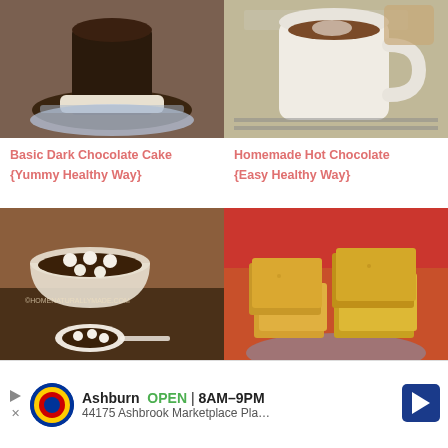[Figure (photo): Dark chocolate cake on a blue and white plate]
[Figure (photo): Homemade hot chocolate in a white mug on a wire rack]
Basic Dark Chocolate Cake {Yummy Healthy Way}
Homemade Hot Chocolate {Easy Healthy Way}
[Figure (photo): Tang yuan dessert soup with white glutinous rice balls in bowls, homenaturallymade.com watermark]
[Figure (photo): Stacked golden/yellow fudge pieces on blue patterned plate with red background]
Ashburn OPEN 8AM–9PM 44175 Ashbrook Marketplace Pla…